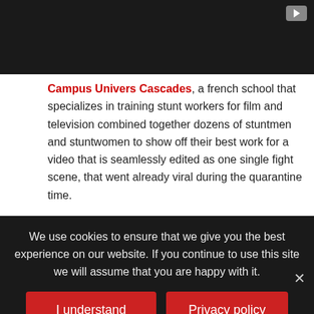[Figure (screenshot): Dark video player background with a small play button icon in the top-right corner]
Campus Univers Cascades, a french school that specializes in training stunt workers for film and television combined together dozens of stuntmen and stuntwomen to show off their best work for a video that is seamlessly edited as one single fight scene, that went already viral during the quarantine time.
[Figure (screenshot): Embedded YouTube video player showing 'OK Go - All Together Now (Offici...' with OK Go circular logo, two split thumbnail images of guitar players, and a centered play button]
We use cookies to ensure that we give you the best experience on our website. If you continue to use this site we will assume that you are happy with it.
I understand
Privacy policy